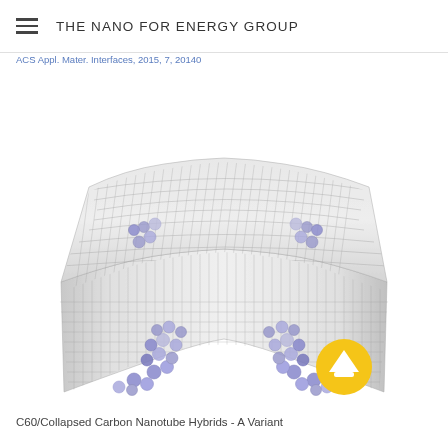THE NANO FOR ENERGY GROUP
ACS Appl. Mater. Interfaces, 2015, 7, 20140
[Figure (illustration): 3D molecular simulation illustration of a collapsed carbon nanotube showing a flattened ribbon-like structure with hexagonal graphene lattice pattern and blue/purple C60 fullerene molecules clustered along the edges and corners of the nanotube hybrid structure. A yellow circular arrow/scroll-up button is visible in the lower right.]
C60/Collapsed Carbon Nanotube Hybrids - A Variant